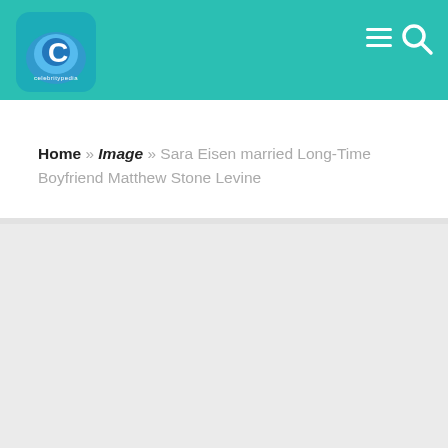[Figure (logo): Celebritypedia logo — stylized blue swirling icon with a white 'C' letter, on teal background header]
Home » Image » Sara Eisen married Long-Time Boyfriend Matthew Stone Levine